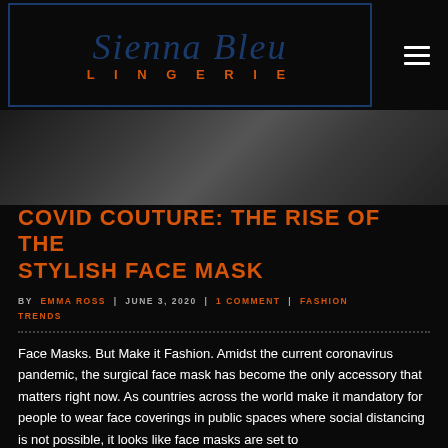[Figure (logo): Sienna Bleu Lingerie logo — cursive script 'Sienna Bleu' in dark navy blue with 'LINGERIE' in orange spaced capitals below, on black background]
[Figure (photo): Partial hero image showing a dark, blurred outdoor fashion photograph — mostly dark tones with a figure visible]
COVID COUTURE: THE RISE OF THE STYLISH FACE MASK
BY EMMA ROSS | JUNE 3, 2020 | 1 COMMENT | FASHION TRENDS
Face Masks. But Make it Fashion. Amidst the current coronavirus pandemic, the surgical face mask has become the only accessory that matters right now. As countries across the world make it mandatory for people to wear face coverings in public spaces where social distancing is not possible, it looks like face masks are set to